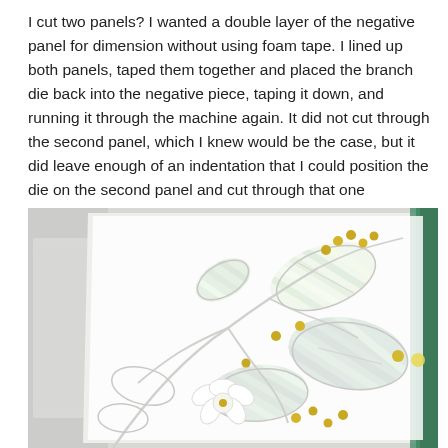I cut two panels? I wanted a double layer of the negative panel for dimension without using foam tape. I lined up both panels, taped them together and placed the branch die back into the negative piece, taping it down, and running it through the machine again. It did not cut through the second panel, which I knew would be the case, but it did leave enough of an indentation that I could position the die on the second panel and cut through that one completely.
[Figure (photo): Close-up photo of a handmade card featuring a white embossed branch and leaf die-cut panel over striped green and yellow patterned paper, with gold brad embellishments and a small white flower die-cut. A green card base is visible on the right edge.]